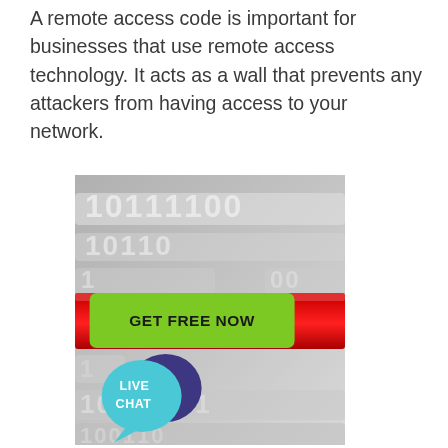A remote access code is important for businesses that use remote access technology. It acts as a wall that prevents any attackers from having access to your network.
[Figure (photo): 3D illustration showing binary code digits (0s and 1s) in grey arranged in rows, with a red highlighted bar labeled 'RAT' in the middle, representing a Remote Access Trojan concept.]
[Figure (other): Green rounded rectangle button with bold black uppercase text 'GET FREE NOW', and a teal/dark-blue speech bubble icon with 'LIVE CHAT' text in white.]